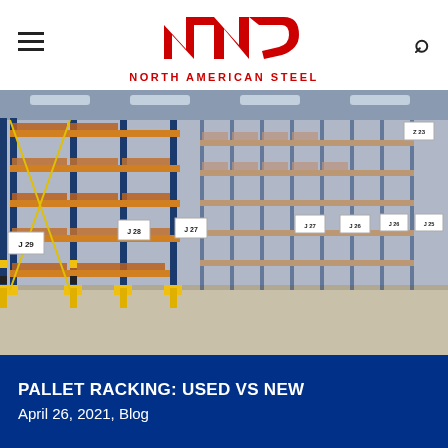[Figure (logo): North American Steel logo with stylized NAS letterform in red above the text NORTH AMERICAN STEEL in red bold capitals]
[Figure (photo): Interior of a large warehouse showing tall blue and orange steel pallet racking systems with multiple levels, aisle labels J25 through J29 and Z23 visible on white signs, concrete floor visible at bottom]
PALLET RACKING: USED VS NEW
April 26, 2021, Blog